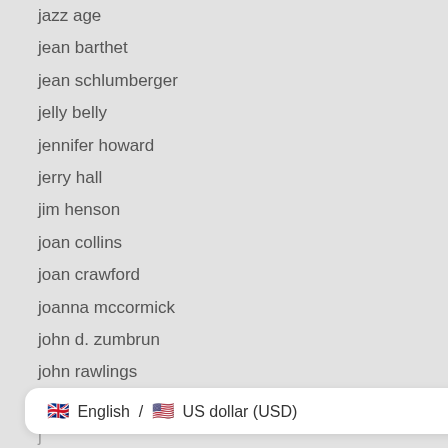jazz age
jean barthet
jean schlumberger
jelly belly
jennifer howard
jerry hall
jim henson
joan collins
joan crawford
joanna mccormick
john d. zumbrun
john rawlings
johnny cash
j
judy lynne
English / US dollar (USD)